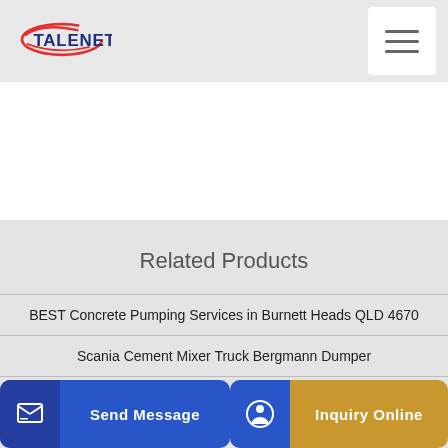TALENET
Related Products
BEST Concrete Pumping Services in Burnett Heads QLD 4670
Scania Cement Mixer Truck Bergmann Dumper
...ete Tr...
Send Message
Inquiry Online